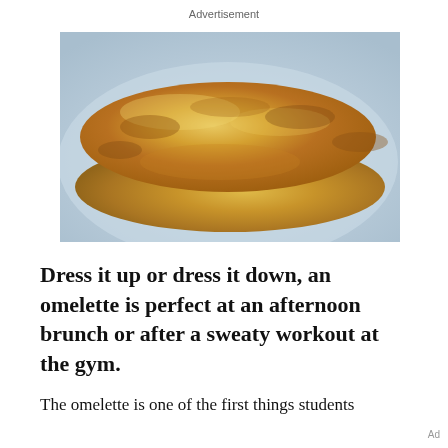Advertisement
[Figure (photo): A golden-brown folded omelette on a white plate, photographed close-up from above at an angle.]
Dress it up or dress it down, an omelette is perfect at an afternoon brunch or after a sweaty workout at the gym.
The omelette is one of the first things students
Ad